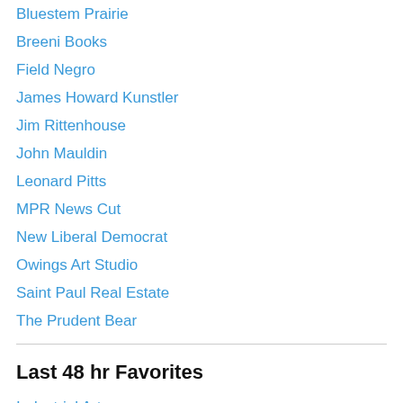Bluestem Prairie
Breeni Books
Field Negro
James Howard Kunstler
Jim Rittenhouse
John Mauldin
Leonard Pitts
MPR News Cut
New Liberal Democrat
Owings Art Studio
Saint Paul Real Estate
The Prudent Bear
Last 48 hr Favorites
Industrial Arts
Dies Irae - Nightmare Before Christmas
Boreas Rex